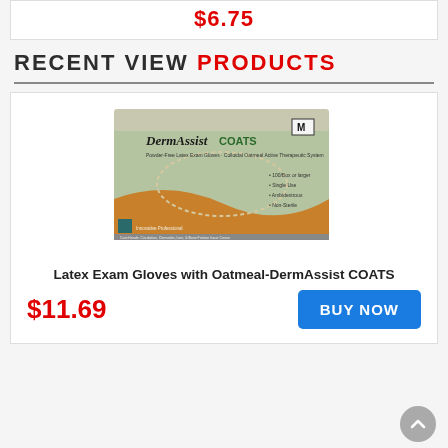$6.75
RECENT VIEW PRODUCTS
[Figure (photo): Box of DermAssist COATS Powder-Free Latex Exam Gloves with Oatmeal, size Medium]
Latex Exam Gloves with Oatmeal-DermAssist COATS
$11.69
BUY NOW